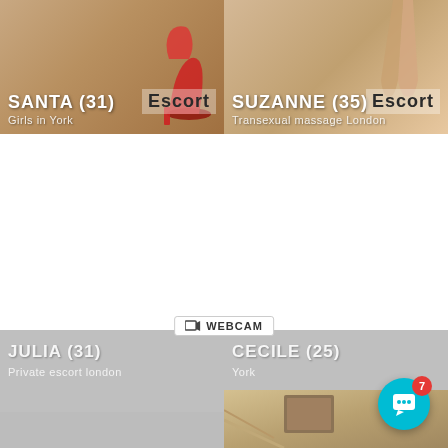[Figure (photo): Photo card of SANTA (31), Girls in York, with red high heels visible, Escort badge overlay]
[Figure (photo): Photo card of SUZANNE (35), Transexual massage London, legs visible, Escort badge overlay]
[Figure (photo): Grayed out / loading card for JULIA (31), Private escort london, with WEBCAM badge]
[Figure (photo): Grayed out / loading card for CECILE (25), York]
[Figure (photo): Partial bottom photo showing interior room with painting on staircase wall]